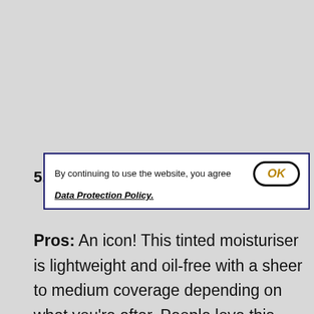[Figure (screenshot): A cookie consent banner with text 'By continuing to use the website, you agree' and a link 'Data Protection Policy.' with an OK button styled with gold text and rounded border.]
5.
Pros: An icon! This tinted moisturiser is lightweight and oil-free with a sheer to medium coverage depending on what you're after. People love this stuff – and for good reason too. The glow factor is real thanks to subtle light-diffusing pigments.